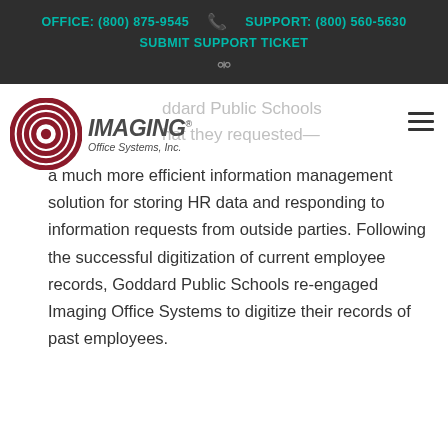OFFICE: (800) 875-9545   SUPPORT: (800) 560-5630   SUBMIT SUPPORT TICKET
[Figure (logo): Imaging Office Systems, Inc. logo with concentric circles in dark red and company name in italic bold]
Goddard Public Schools that they requested—a much more efficient information management solution for storing HR data and responding to information requests from outside parties. Following the successful digitization of current employee records, Goddard Public Schools re-engaged Imaging Office Systems to digitize their records of past employees.